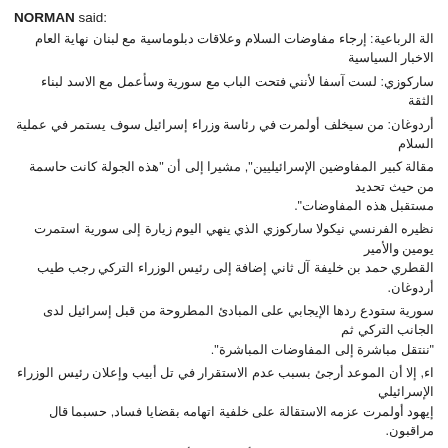NORMAN said:
الة الرباعية: إرجاء مفاوضات السلام وعلاقات دبلوماسية مع لبنان نهاية العام الاخبار السياسية
ساركوزي: لست آسفا لأنني فتحت الباب مع سورية وسأعمل مع الاسد لبناء الثقة
أردوغان: من سيخلف أولمرت في رئاسة وزراء إسرائيل سوف يستمر في عملية السلام
مقالة كبير المفاوضين الإسرائيليين", مشيرا إلى أن "هذه الجولة كانت حاسمة من حيث تحديد مستقبل هذه المفاوضات".
نظيره الفرنسي نيكولا ساركوزي الذي ينهي اليوم زيارة إلى سورية استمرت يومين والأمير القطري حمد بن خليفة آل ثاني إضافة إلى رئيس الوزراء التركي رجب طيب أردوغان.
سورية ستودع ردها الإيجابي على المبادئ المطروحة من قبل إسرائيل لدى الجانب التركي ثم "ننتقل مباشرة إلى المفاوضات المباشرة".
اء, إلا أن الموعد أرجئ بسبب عدم الاستقرار في تل أبيب وإعلان رئيس الوزراء الإسرائيلي إيهود أولمرت عزمه الاستقالة على خلفية اتهامه بقضايا فساد, حسبما قال مراقبون.
مقتنعة بعملية السلام", مشيرا إلى أن "الدور الأمريكي ضروري في عملية السلام كما هو الدور ولكن تركيا ستبقى شريك رئيسي في عملية السلام في هذه المرحلة وفي المرحلة المقبلة.
ضورة دخول لبنان في المفاوضات مع إسرائيل لكن في مرحلة المفاوضات المباشرة, والرئيس سليمان متفق معي حول هذه النقطة".
المباشرة بين سورية وإسرائيل مشيرا إلى أنه يراقب هذه المفاوضات غير المباشرة عن كثب
ونحن قلقون إزاء ما يحصل في طرابلس", مشيرا إلى أن " أي شيء إيجابي في لبنان لا قيمة "له دون حل مشكلة التطرف والسلفية".
بيرات كان آخرها استهداف عبوة ناسفة لحافلة كانت متوقفة راح ضحيتها 11 قتيلا و40 جريحا
ات مازالت منتظرة من اللبنانيين وفي مقدمتها الحوار الذي يفترض أن يحل المسائل العالقة